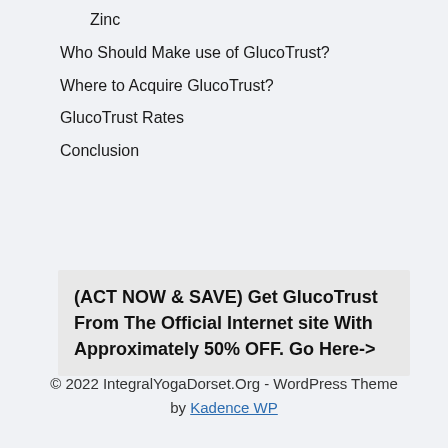Zinc
Who Should Make use of GlucoTrust?
Where to Acquire GlucoTrust?
GlucoTrust Rates
Conclusion
(ACT NOW & SAVE) Get GlucoTrust From The Official Internet site With Approximately 50% OFF. Go Here->
© 2022 IntegralYogaDorset.Org - WordPress Theme by Kadence WP